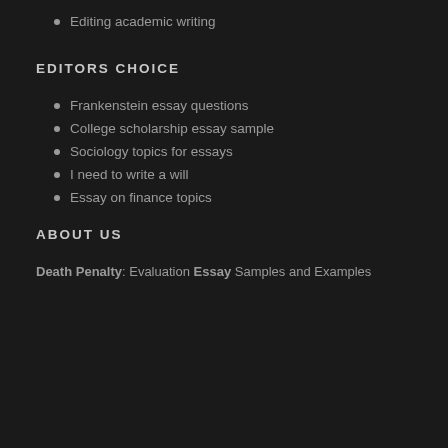Editing academic writing
EDITORS CHOICE
Frankenstein essay questions
College scholarship essay sample
Sociology topics for essays
I need to write a will
Essay on finance topics
ABOUT US
Death Penalty: Evaluation Essay Samples and Examples